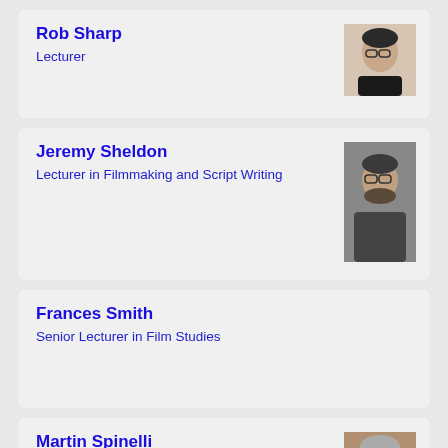Rob Sharp
Lecturer
[Figure (photo): Headshot of Rob Sharp, person with glasses and dark hair]
Jeremy Sheldon
Lecturer in Filmmaking and Script Writing
[Figure (photo): Headshot of Jeremy Sheldon, man with beard and glasses]
Frances Smith
Senior Lecturer in Film Studies
Martin Spinelli
Professor in Podcasting and Creative Media
Subject area: Media Practice
[Figure (photo): Headshot of Martin Spinelli, older man with gray hair]